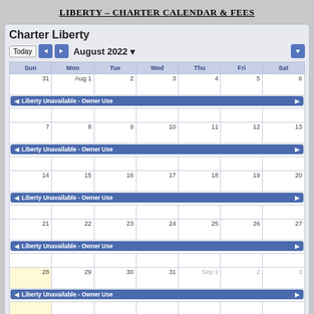LIBERTY – CHARTER CALENDAR & FEES
[Figure (screenshot): Google Calendar screenshot showing Charter Liberty for August 2022. All weeks show 'Liberty Unavailable - Owner Use' events spanning the full week. The last row (Aug 28 - Sep 3) also shows the same event. Today cell (Aug 28) is highlighted in yellow. A Google Calendar button appears at the bottom right.]